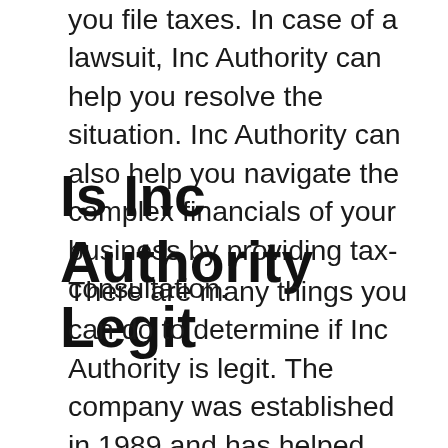you file taxes. In case of a lawsuit, Inc Authority can help you resolve the situation. Inc Authority can also help you navigate the complex financials of your business by providing tax-consultation.
Is Inc Authority Legit
There are many things you can do to determine if Inc Authority is legit. The company was established in 1989 and has helped hundreds of thousands of individuals and businesses establish their companies. Its reputation is solid. In fact, it has received excellent ratings from both users and financial institutions. Although Inc Authority is a good option for anyone looking to form an LLC, there are a few flaws you should be...